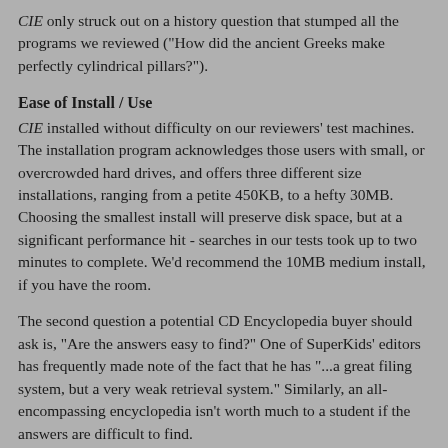CIE only struck out on a history question that stumped all the programs we reviewed ("How did the ancient Greeks make perfectly cylindrical pillars?").
Ease of Install / Use
CIE installed without difficulty on our reviewers' test machines. The installation program acknowledges those users with small, or overcrowded hard drives, and offers three different size installations, ranging from a petite 450KB, to a hefty 30MB. Choosing the smallest install will preserve disk space, but at a significant performance hit - searches in our tests took up to two minutes to complete. We'd recommend the 10MB medium install, if you have the room.
The second question a potential CD Encyclopedia buyer should ask is, "Are the answers easy to find?" One of SuperKids' editors has frequently made note of the fact that he has "...a great filing system, but a very weak retrieval system." Similarly, an all-encompassing encyclopedia isn't worth much to a student if the answers are difficult to find.
CIE's retrieval system is very strong, benefitting from an exceptionally effective three panel screen layout. The bottom left quadrant is the home for the search engine. Articles can be accessed by subject, or more frequently, by stringing together